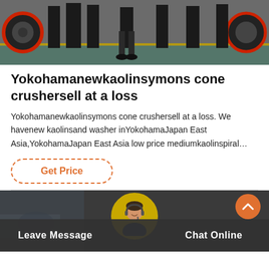[Figure (photo): Industrial machinery with large circular equipment and workers in dark clothing on a factory floor with green/teal flooring]
Yokohamanewkaolinsymons cone crushersell at a loss
Yokohamanewkaolinsymons cone crushersell at a loss. We havenew kaolinsand washer inYokohamaJapan East Asia,YokohamaJapan East Asia low price mediumkaolinspiral…
Get Price
[Figure (photo): Bottom section with dark background showing a customer service agent icon and Leave Message / Chat Online buttons]